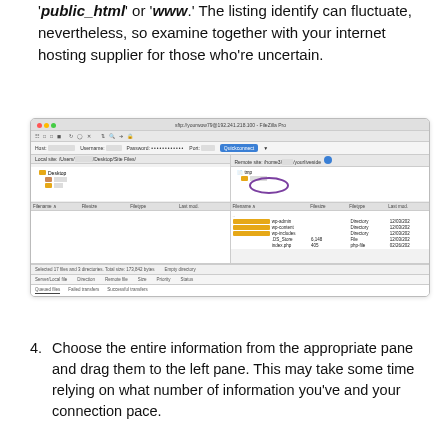'public_html' or 'www.' The listing identify can fluctuate, nevertheless, so examine together with your internet hosting supplier for those who're uncertain.
[Figure (screenshot): Screenshot of FileZilla Pro FTP client showing a connection to sftp://yourwow79@192.241.218.100. The left pane shows Local site with Desktop folder. The right pane shows Remote site with folders including wp-admin, wp-content, wp-includes, and files .DS_Store and index.php. A purple ellipse highlights a folder in the remote site tree. The bottom shows status bar with 'Selected 17 files and 3 directories. Total size: 173,842 bytes' and 'Empty directory'. Tabs at bottom: Queued files, Failed transfers, Successful transfers.]
4. Choose the entire information from the appropriate pane and drag them to the left pane. This may take some time relying on what number of information you've and your connection pace.